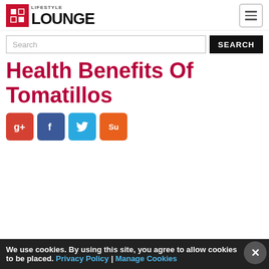LIFESTYLE LOUNGE
Search
Health Benefits Of Tomatillos
[Figure (screenshot): Social sharing buttons: Google+, Facebook, Twitter, StumbleUpon]
We use cookies. By using this site, you agree to allow cookies to be placed. Privacy Policy | Manage Cookies